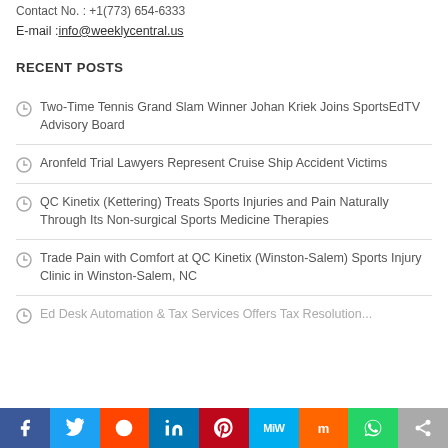Contact No. : +1(773) 654-6333
E-mail : info@weeklycentral.us
RECENT POSTS
Two-Time Tennis Grand Slam Winner Johan Kriek Joins SportsEdTV Advisory Board
Aronfeld Trial Lawyers Represent Cruise Ship Accident Victims
QC Kinetix (Kettering) Treats Sports Injuries and Pain Naturally Through Its Non-surgical Sports Medicine Therapies
Trade Pain with Comfort at QC Kinetix (Winston-Salem) Sports Injury Clinic in Winston-Salem, NC
Ed Desk Automation & Tax Services Offers Tax Resolution...